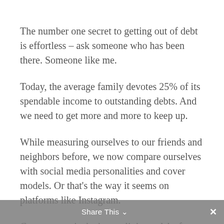The number one secret to getting out of debt is effortless – ask someone who has been there. Someone like me.
Today, the average family devotes 25% of its spendable income to outstanding debts. And we need to get more and more to keep up.
While measuring ourselves to our friends and neighbors before, we now compare ourselves with social media personalities and cover models. Or that's the way it seems on platforms like Instagram.
Contentment is the key to living a debt-free life. After paying off my debt for almost four years, I want to share some adjustments that helped me. They were powerful
Share This